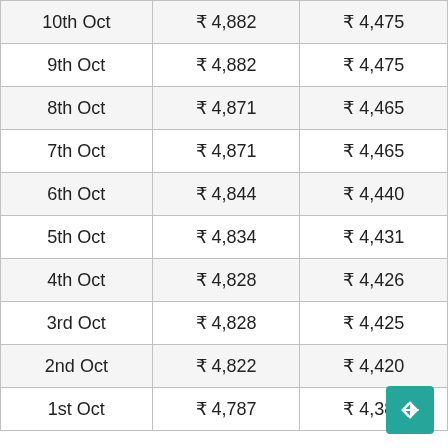| 10th Oct | ₹ 4,882 | ₹ 4,475 |
| 9th Oct | ₹ 4,882 | ₹ 4,475 |
| 8th Oct | ₹ 4,871 | ₹ 4,465 |
| 7th Oct | ₹ 4,871 | ₹ 4,465 |
| 6th Oct | ₹ 4,844 | ₹ 4,440 |
| 5th Oct | ₹ 4,834 | ₹ 4,431 |
| 4th Oct | ₹ 4,828 | ₹ 4,426 |
| 3rd Oct | ₹ 4,828 | ₹ 4,425 |
| 2nd Oct | ₹ 4,822 | ₹ 4,420 |
| 1st Oct | ₹ 4,787 | ₹ 4,388 |